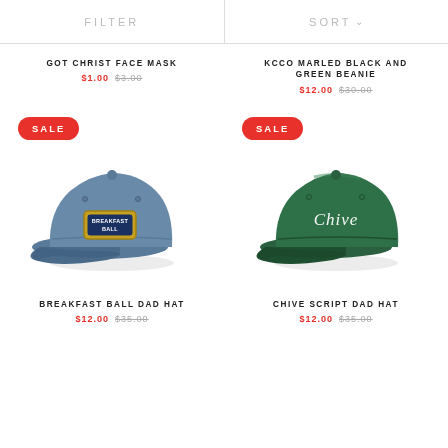FILTER | SORT
GOT CHRIST FACE MASK
$1.00  $3.00
KCCO MARLED BLACK AND GREEN BEANIE
$12.00  $30.00
[Figure (photo): Blue dad hat with Breakfast Ball patch on front]
[Figure (photo): Green dad hat with Chive script embroidery on front]
BREAKFAST BALL DAD HAT
$12.00  $35.00
CHIVE SCRIPT DAD HAT
$12.00  $35.00